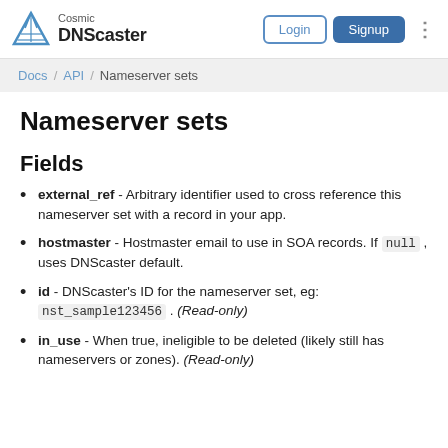Cosmic DNScaster — Login | Signup
Docs / API / Nameserver sets
Nameserver sets
Fields
external_ref - Arbitrary identifier used to cross reference this nameserver set with a record in your app.
hostmaster - Hostmaster email to use in SOA records. If null , uses DNScaster default.
id - DNScaster's ID for the nameserver set, eg: nst_sample123456 . (Read-only)
in_use - When true, ineligible to be deleted (likely still has nameservers or zones). (Read-only)